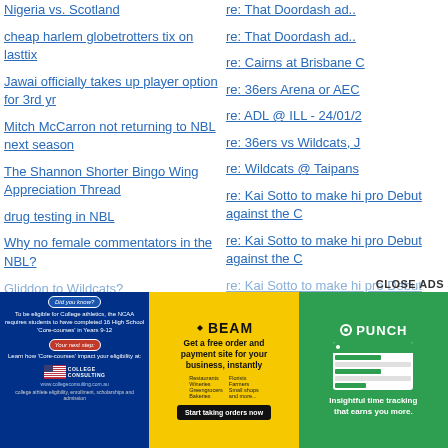Nigeria vs. Scotland
cheap harlem globetrotters tix on lasttix
Jawai officially takes up player option for 3rd yr
Mitch McCarron not returning to NBL next season
The Shannon Shorter Bingo Wing Appreciation Thread
drug testing in NBL
Why no female commentators in the NBL?
Gliddon to Wildcats?
re: That Doordash ad..
re: That Doordash ad..
re: Cairns at Brisbane C
re: 36ers Arena or AEC
re: ADL @ ILL - 24/01/2
re: 36ers vs Wildcats, J
re: Wildcats @ Taipans
re: Kai Sotto to make hi pro Debut against the C
re: Kai Sotto to make hi pro Debut against the C
re: Kai Sotto to make hi pro Debut against the C
CLOSE ADS
[Figure (infographic): Blue background ad for College Consulting with red/blue badges, US flag logo, and text about NCAA College athletics eligibility]
[Figure (infographic): Yellow BEAM ad promoting free order and payment site for business with Start taking orders now button]
[Figure (infographic): Green PUNCH ad with laptop screenshot and tagline Insightful time tracking that earns you more.]